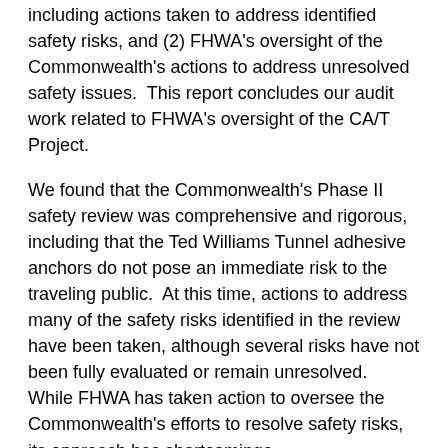including actions taken to address identified safety risks, and (2) FHWA's oversight of the Commonwealth's actions to address unresolved safety issues.  This report concludes our audit work related to FHWA's oversight of the CA/T Project.
We found that the Commonwealth's Phase II safety review was comprehensive and rigorous, including that the Ted Williams Tunnel adhesive anchors do not pose an immediate risk to the traveling public.  At this time, actions to address many of the safety risks identified in the review have been taken, although several risks have not been fully evaluated or remain unresolved.  While FHWA has taken action to oversee the Commonwealth's efforts to resolve safety risks, its approach has shortcomings.
We made the following recommendations to the Federal Highway Administrator: